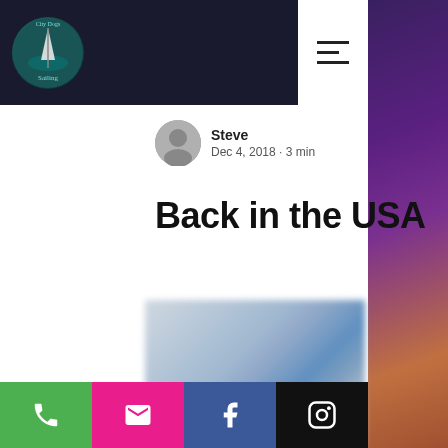City Dogs Sailing — navigation header with hamburger menu
Steve
Dec 4, 2018 · 3 min
Back in the USA
[Figure (photo): Blurred outdoor photo, appears to show a boat or nautical scene with blue and grey tones]
Phone | Email | Facebook | Instagram action buttons